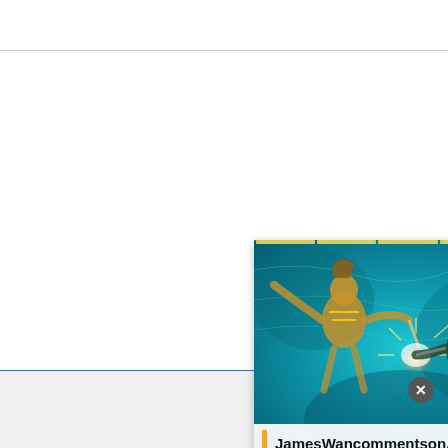[Figure (screenshot): Screenshot of a social media story card showing a movie/action scene (Aquaman) with two characters fighting underwater. The card has a gold progress bar at top, close (X) and more (...) buttons, an orange arrow circle button, and a title bar reading 'JamesWancommentsonAqua...'. Below the image is a white content area. A dark close button appears at bottom right.]